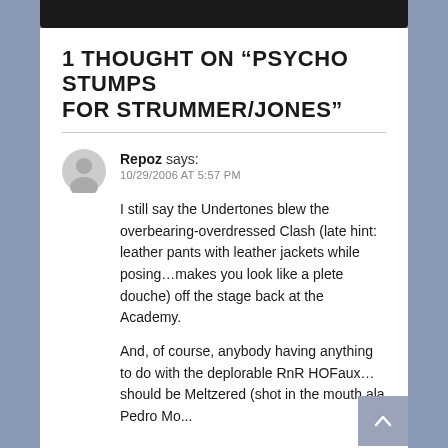1 THOUGHT ON “PSYCHO STUMPS FOR STRUMMER/JONES”
Repoz says:
10/29/2006 AT 5:57 PM
I still say the Undertones blew the overbearing-overdressed Clash (late hint: leather pants with leather jackets while posing…makes you look like a plete douche) off the stage back at the Academy.

And, of course, anybody having anything to do with the deplorable RnR HOFaux…should be Meltzered (shot in the mouth ala Pedro Mo...